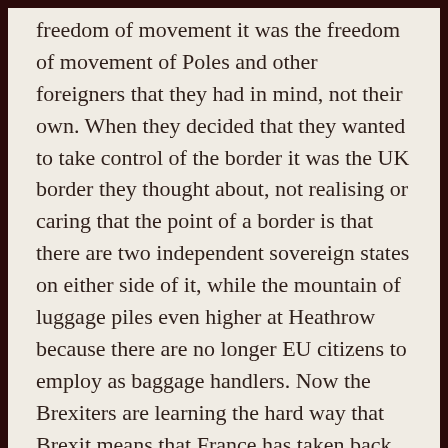freedom of movement it was the freedom of movement of Poles and other foreigners that they had in mind, not their own. When they decided that they wanted to take control of the border it was the UK border they thought about, not realising or caring that the point of a border is that there are two independent sovereign states on either side of it, while the mountain of luggage piles even higher at Heathrow because there are no longer EU citizens to employ as baggage handlers. Now the Brexiters are learning the hard way that Brexit means that France has taken back control of its side of the border. Truss and Sunak both collude in the comforting delusions of Anglo-British nationalism, but it's Truss who has successfully positioned herself as the true heir to their deposed champion Johnson in the eyes of most Conservative members.